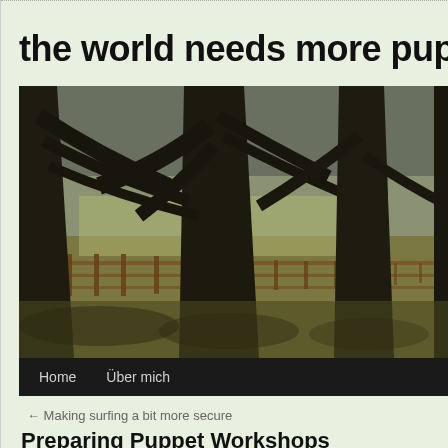the world needs more puppet!
[Figure (photo): Outdoor scene with large bare deciduous trees in a row along a wooden fence, with a grassy field and distant sheep in a misty background. Dark silhouettes of tree trunks dominate the foreground.]
Home  Über mich
← Making surfing a bit more secure
Preparing Puppet Workshops